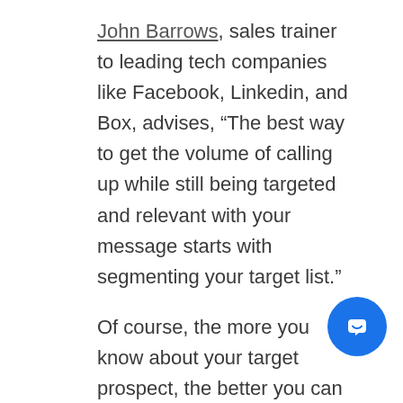John Barrows, sales trainer to leading tech companies like Facebook, Linkedin, and Box, advises, “The best way to get the volume of calling up while still being targeted and relevant with your message starts with segmenting your target list.”
Of course, the more you know about your target prospect, the better you can connect with them and talk directly to their pain points. Since you may not have time to do 10 minutes of research on every prospect before calling (unless you’re doing account based sales development), the best and most effective thing you can do to move the needle is segment.
For higher cold calling volume (which means less preparation) you must fully develop buyer